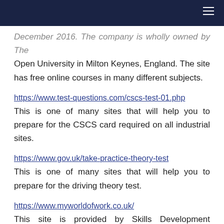[Navigation bar]
December 2016. The company is wholly owned by The Open University in Milton Keynes, England. The site has free online courses in many different subjects.
https://www.test-questions.com/cscs-test-01.php
This is one of many sites that will help you to prepare for the CSCS card required on all industrial sites.
https://www.gov.uk/take-practice-theory-test
This is one of many sites that will help you to prepare for the driving theory test.
https://www.myworldofwork.co.uk/
This site is provided by Skills Development Scotland; it is